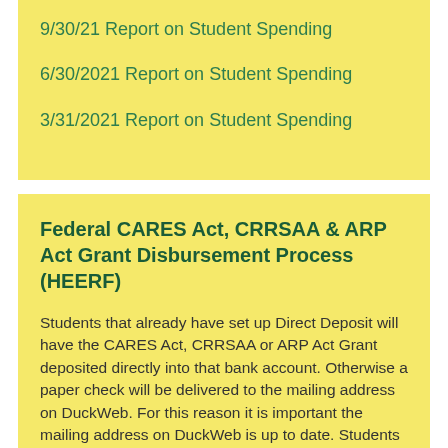9/30/21 Report on Student Spending
6/30/2021 Report on Student Spending
3/31/2021 Report on Student Spending
Federal CARES Act, CRRSAA & ARP Act Grant Disbursement Process (HEERF)
Students that already have set up Direct Deposit will have the CARES Act, CRRSAA or ARP Act Grant deposited directly into that bank account. Otherwise a paper check will be delivered to the mailing address on DuckWeb. For this reason it is important the mailing address on DuckWeb is up to date. Students typically receive their CARES Act, CRRSAA or ARP Act